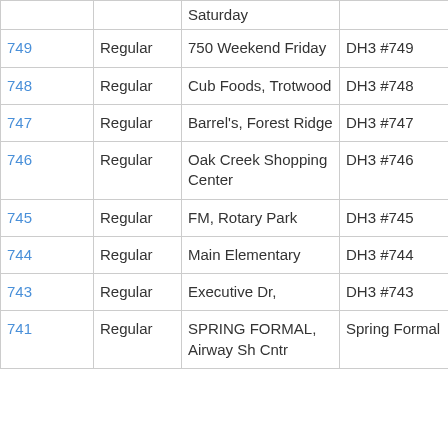| ID | Type | Location | Name | Date |
| --- | --- | --- | --- | --- |
|  |  | Saturday |  |  |
| 749 | Regular | 750 Weekend Friday | DH3 #749 | 2006/07/1 |
| 748 | Regular | Cub Foods, Trotwood | DH3 #748 | 2006/07/1 |
| 747 | Regular | Barrel's, Forest Ridge | DH3 #747 | 2006/07/0 |
| 746 | Regular | Oak Creek Shopping Center | DH3 #746 | 2006/06/1 |
| 745 | Regular | FM, Rotary Park | DH3 #745 | 2006/06/1 |
| 744 | Regular | Main Elementary | DH3 #744 | 2006/06/0 |
| 743 | Regular | Executive Dr, | DH3 #743 | 2006/05/2 |
| 741 | Regular | SPRING FORMAL, Airway Sh Cntr | Spring Formal | 2006/05/0 |